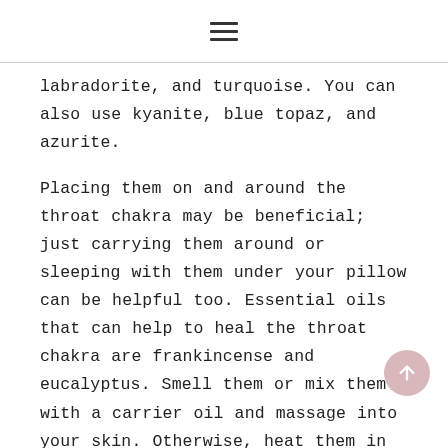≡
labradorite, and turquoise. You can also use kyanite, blue topaz, and azurite.
Placing them on and around the throat chakra may be beneficial; just carrying them around or sleeping with them under your pillow can be helpful too. Essential oils that can help to heal the throat chakra are frankincense and eucalyptus. Smell them or mix them with a carrier oil and massage into your skin. Otherwise, heat them in an oil burner to